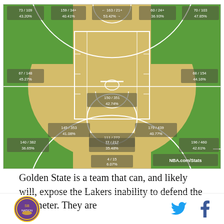[Figure (other): NBA shot chart for the Lakers showing shooting percentages from various zones on the basketball court. The court is colored yellow (paint/mid-range) and green (three-point areas). Stats shown: top zones: 43.20%, 40.41%, 53.42%, 36.93%, 47.85%; mid zones: 45.27%, 44.16%, 41.08%, 42.74%, 40.77%, 40.81%; bottom zones: 36.65%, 35.48%, 42.61%; restricted area: 6.07%. Source: NBA.com/Stats]
Golden State is a team that can, and likely will, expose the Lakers inability to defend the perimeter. They are